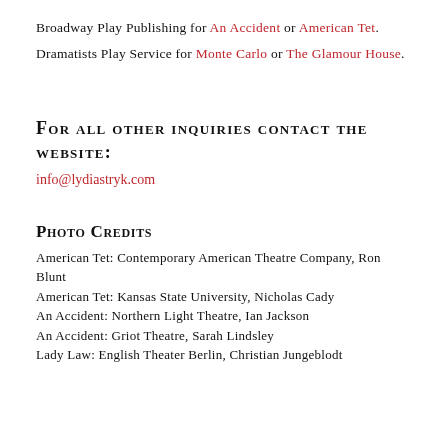Broadway Play Publishing for An Accident or American Tet.
Dramatists Play Service for Monte Carlo or The Glamour House.
For all other inquiries contact the website:
info@lydiastryk.com
Photo Credits
American Tet: Contemporary American Theatre Company, Ron Blunt
American Tet: Kansas State University, Nicholas Cady
An Accident: Northern Light Theatre, Ian Jackson
An Accident: Griot Theatre, Sarah Lindsley
Lady Law: English Theater Berlin, Christian Jungeblodt